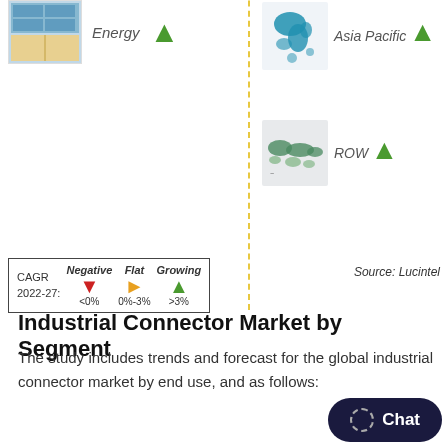[Figure (infographic): Market segment infographic showing Energy sector (left column with image and upward green arrow) and regional maps for Asia Pacific and ROW (right column) with green upward arrows, separated by a dashed yellow vertical line. Includes CAGR legend box (2022-27) with Negative <0% red arrow, Flat 0%-3% orange arrow, Growing >3% green arrow. Source: Lucintel.]
Industrial Connector Market by Segment
The study includes trends and forecast for the global industrial connector market by end use, and as follows: